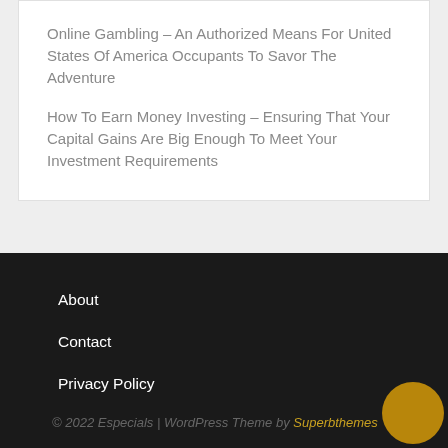Online Gambling – An Authorized Means For United States Of America Occupants To Savor The Adventure
How To Earn Money Investing – Ensuring That Your Capital Gains Are Big Enough To Meet Your Investment Requirements
About
Contact
Privacy Policy
© 2022 Especials | WordPress Theme by Superbthemes